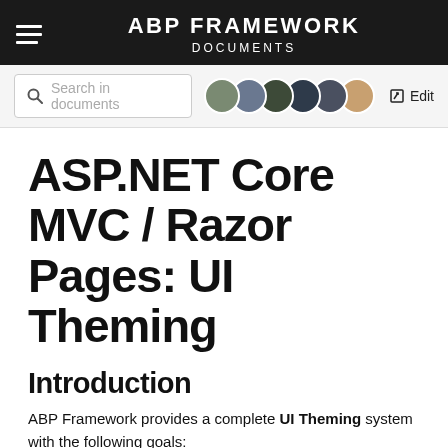ABP FRAMEWORK DOCUMENTS
[Figure (screenshot): Toolbar with search box, contributor avatars, and edit button]
ASP.NET Core MVC / Razor Pages: UI Theming
Introduction
ABP Framework provides a complete UI Theming system with the following goals: